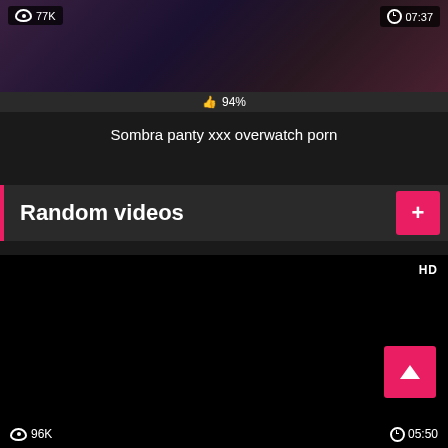[Figure (screenshot): Video thumbnail showing animated/game art with dark purple tones. Has view count badge (77K) top-left, duration badge (07:37) top-right, and 94% like bar at bottom.]
Sombra panty xxx overwatch porn
Random videos
[Figure (screenshot): Black video thumbnail with HD badge top-right, scroll-to-top pink button, view count 96K bottom-left, duration 05:50 bottom-right.]